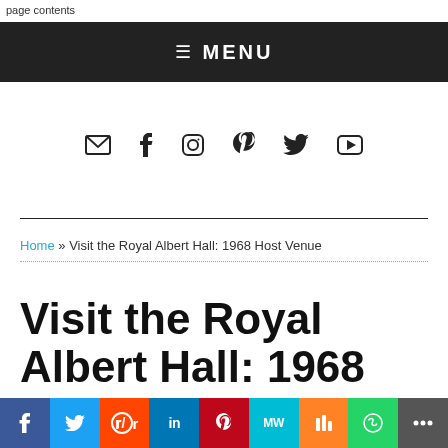page contents
≡ MENU
[Figure (other): Social media icon links: email, facebook, instagram, pinterest, twitter, youtube]
Home » Visit the Royal Albert Hall: 1968 Host Venue
Visit the Royal Albert Hall: 1968 Host Venue
Share bar with: facebook, twitter, reddit, linkedin, pinterest, MeWe, Mix, WhatsApp, more